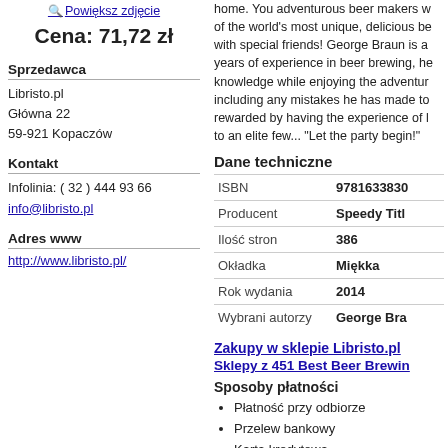Powiększ zdjęcie
Cena: 71,72 zł
Sprzedawca
Libristo.pl
Główna 22
59-921 Kopaczów
Kontakt
Infolinia: ( 32 ) 444 93 66
info@libristo.pl
Adres www
http://www.libristo.pl/
home. You adventurous beer makers w of the world's most unique, delicious be with special friends! George Braun is a years of experience in beer brewing, he knowledge while enjoying the adventur including any mistakes he has made to rewarded by having the experience of l to an elite few... "Let the party begin!"
Dane techniczne
|  |  |
| --- | --- |
| ISBN | 9781633830 |
| Producent | Speedy Titl |
| Ilość stron | 386 |
| Okładka | Miękka |
| Rok wydania | 2014 |
| Wybrani autorzy | George Bra |
Zakupy w sklepie Libristo.pl
Sklepy z 451 Best Beer Brewin
Sposoby płatności
Płatność przy odbiorze
Przelew bankowy
Karta kredytowa
Dostawa towaru
Wskaźnik dostępności towaru
Śledzenie stanu zamówienia
Poczta Polska
Przesyłka kurierska